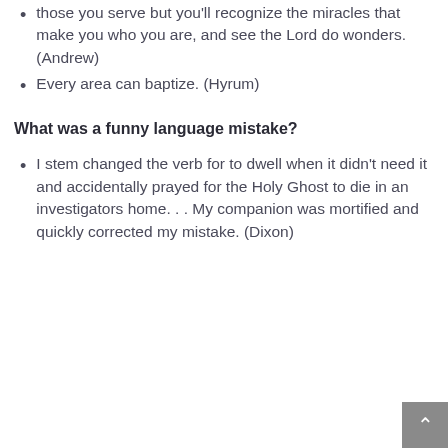those you serve but you'll recognize the miracles that make you who you are, and see the Lord do wonders. (Andrew)
Every area can baptize. (Hyrum)
What was a funny language mistake?
I stem changed the verb for to dwell when it didn't need it and accidentally prayed for the Holy Ghost to die in an investigators home. . . My companion was mortified and quickly corrected my mistake. (Dixon)